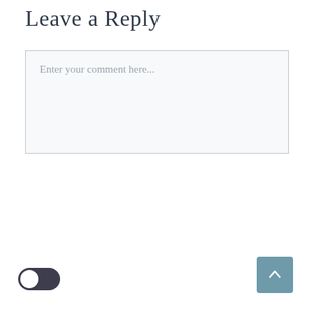Leave a Reply
Enter your comment here...
[Figure (other): Back to top button - a teal/muted blue-green rounded square button with an upward chevron arrow icon]
[Figure (other): Toggle switch UI element - dark colored track with white circular thumb on the left side (off position)]